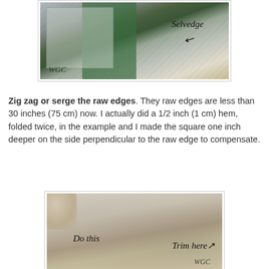[Figure (photo): Photo of fabric with a cutting mat and ruler, with handwritten annotations 'Selvedge' with arrow and 'WGC' watermark in bottom left]
Zig zag or serge the raw edges. They raw edges are less than 30 inches (75 cm) now. I actually did a 1/2 inch (1 cm) hem, folded twice, in the example and I made the square one inch deeper on the side perpendicular to the raw edge to compensate.
[Figure (photo): Photo of fabric being held, showing a hem with handwritten annotations 'Do this' and 'Trim here' with arrow, and 'WGC' watermark]